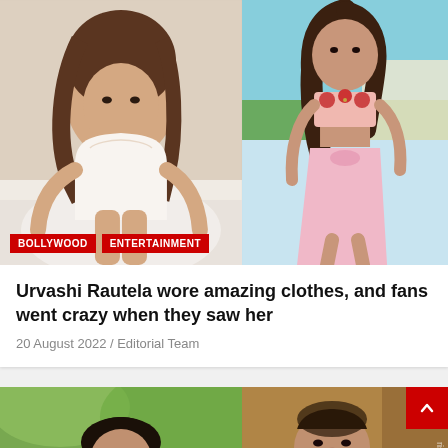[Figure (photo): Two-panel celebrity photo collage: left panel shows a woman in a white lace outfit posing on a bed/chair; right panel shows a woman in a pink floral bandeau top with a pink wrap skirt, posing outdoors]
BOLLYWOOD
ENTERTAINMENT
Urvashi Rautela wore amazing clothes, and fans went crazy when they saw her
20 August 2022 / Editorial Team
[Figure (photo): Two-panel photo collage (partially visible): left panel shows a young man with styled hair against a green leafy background; right panel shows an older man in formal attire against a warm brown background]